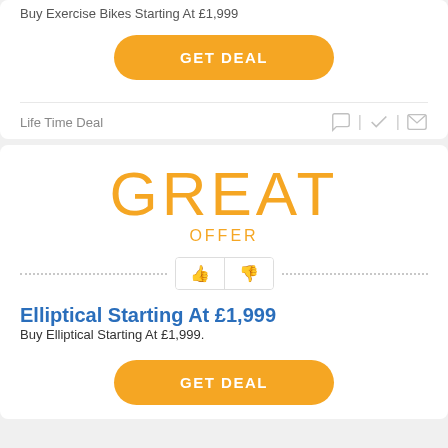Buy Exercise Bikes Starting At £1,999
GET DEAL
Life Time Deal
GREAT OFFER
Elliptical Starting At £1,999
Buy Elliptical Starting At £1,999.
GET DEAL